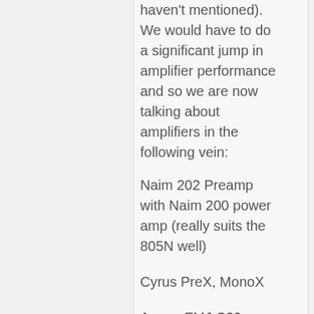haven't mentioned). We would have to do a significant jump in amplifier performance and so we are now talking about amplifiers in the following vein:
Naim 202 Preamp with Naim 200 power amp (really suits the 805N well)
Cyrus PreX, MonoX
Arcam FMJ C30 preamp, P35 power amp (or P1 monoblocks)
Classe's baby integrated amp.